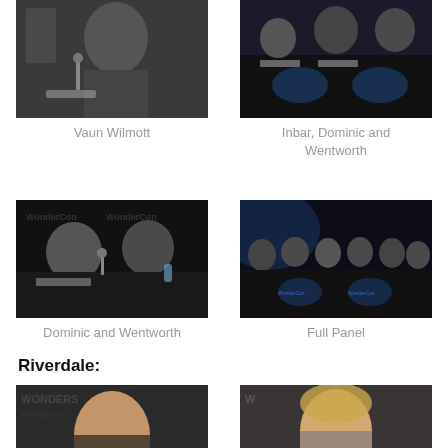[Figure (photo): Vaun Wilmott speaking at a panel with a microphone and nameplate]
Vaun Wilmott
[Figure (photo): Inbar, Dominic and Wentworth seated at a panel table with WonderCon branding]
Inbar, Dominic and Wentworth
[Figure (photo): Dominic and Wentworth seated at a WonderCon panel table]
Dominic and Wentworth
[Figure (photo): Full panel at WonderCon with multiple cast members seated at a long table]
Full Panel
Riverdale:
[Figure (photo): Young male actor at WonderCon panel]
[Figure (photo): Young female actress with blonde hair at WonderCon panel]